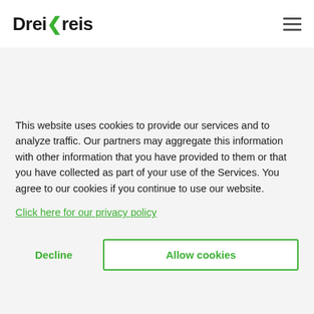DreiKreis
This website uses cookies to provide our services and to analyze traffic. Our partners may aggregate this information with other information that you have provided to them or that you have collected as part of your use of the Services. You agree to our cookies if you continue to use our website.
Click here for our privacy policy
Decline
Allow cookies
Our client is an Austrian company that is